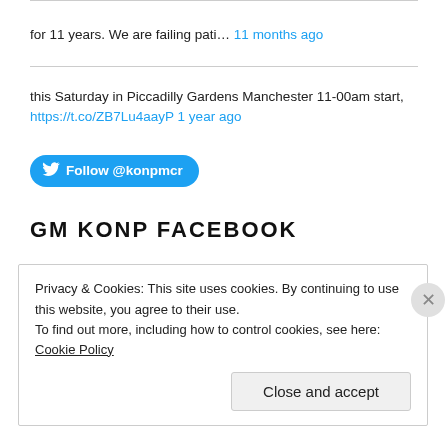for 11 years. We are failing pati… 11 months ago
this Saturday in Piccadilly Gardens Manchester 11-00am start, https://t.co/ZB7Lu4aayP 1 year ago
[Figure (other): Blue Twitter Follow button with bird icon: Follow @konpmcr]
GM KONP FACEBOOK
MANCHESTER
Privacy & Cookies: This site uses cookies. By continuing to use this website, you agree to their use.
To find out more, including how to control cookies, see here: Cookie Policy
Close and accept